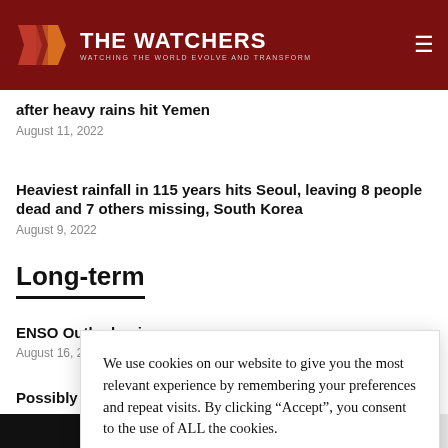THE WATCHERS — WATCHING THE WORLD EVOLVE AND TRANSFORM
after heavy rains hit Yemen
August 11, 2022
Heaviest rainfall in 115 years hits Seoul, leaving 8 people dead and 7 others missing, South Korea
August 9, 2022
Long-term
ENSO Outlook rais
August 16, 2022
Possibly the first s
We use cookies on our website to give you the most relevant experience by remembering your preferences and repeat visits. By clicking “Accept”, you consent to the use of ALL the cookies.
Do not sell my personal information.
Cookie settings
Accept